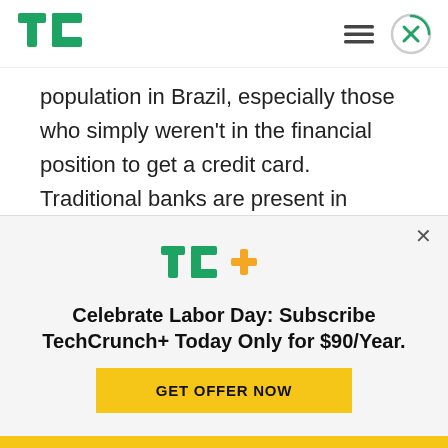TechCrunch
population in Brazil, especially those who simply weren't in the financial position to get a credit card. Traditional banks are present in about 80% of Brazilian municipalities, but considering that Nubank's app-based product is location-agnostic, it's able to reach 100% of the municipalities, the company said. In addition, it's been helping
[Figure (logo): TC+ logo (TechCrunch+) in green and yellow]
Celebrate Labor Day: Subscribe TechCrunch+ Today Only for $90/Year.
GET OFFER NOW